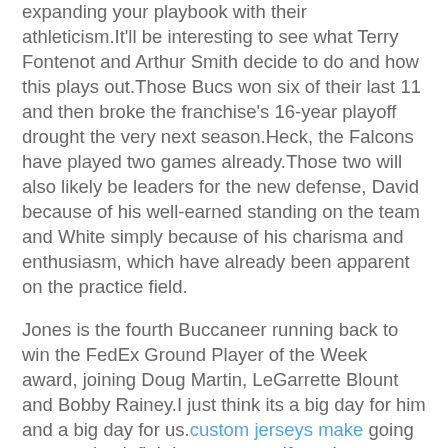expanding your playbook with their athleticism.It'll be interesting to see what Terry Fontenot and Arthur Smith decide to do and how this plays out.Those Bucs won six of their last 11 and then broke the franchise's 16-year playoff drought the very next season.Heck, the Falcons have played two games already.Those two will also likely be leaders for the new defense, David because of his well-earned standing on the team and White simply because of his charisma and enthusiasm, which have already been apparent on the practice field.
Jones is the fourth Buccaneer running back to win the FedEx Ground Player of the Week award, joining Doug Martin, LeGarrette Blount and Bobby Rainey.I just think its a big day for him and a big day for us.custom jerseys make going to come back fighting next year.If you have man-to-man coverage underneath, they have to make the perfect throw, and he made a nice throw.The Forum has provided 118 opportunities with NFL clubs since its inception.The Falcons were at least in position to win the game but just couldn't pull it off.